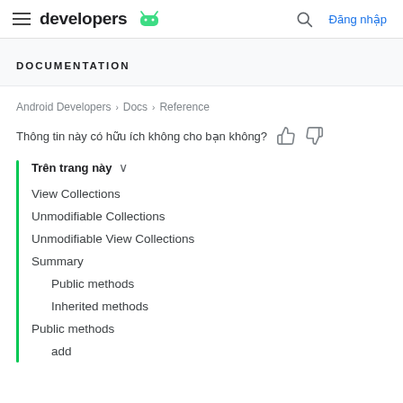developers [android logo] | [search icon] Đăng nhập
DOCUMENTATION
Android Developers > Docs > Reference
Thông tin này có hữu ích không cho bạn không? [thumbs up] [thumbs down]
Trên trang này ∨
View Collections
Unmodifiable Collections
Unmodifiable View Collections
Summary
Public methods
Inherited methods
Public methods
add